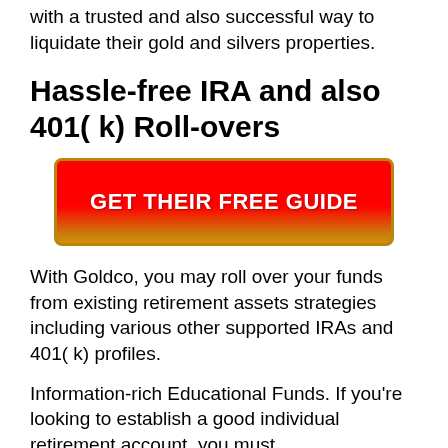with a trusted and also successful way to liquidate their gold and silvers properties.
Hassle-free IRA and also 401( k) Roll-overs
[Figure (other): Red gradient call-to-action button with text GET THEIR FREE GUIDE]
With Goldco, you may roll over your funds from existing retirement assets strategies including various other supported IRAs and 401( k) profiles.
Information-rich Educational Funds. If you're looking to establish a good individual retirement account, you must